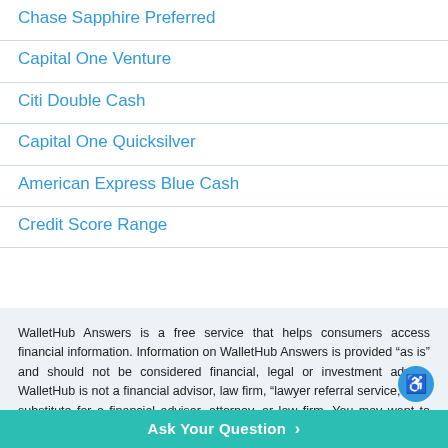Chase Sapphire Preferred
Capital One Venture
Citi Double Cash
Capital One Quicksilver
American Express Blue Cash
Credit Score Range
WalletHub Answers is a free service that helps consumers access financial information. Information on WalletHub Answers is provided “as is” and should not be considered financial, legal or investment advice. WalletHub is not a financial advisor, law firm, “lawyer referral service,” or a substitute for a financial advisor, attorney, or law firm. You may want to hire a professional before making any decision. WalletHub does not endorse any particular contributors and cannot guarantee the quality or reliability of any information posted. The helpfulness of a financial advisor’s answer is not indicative of future
Ask Your Question >